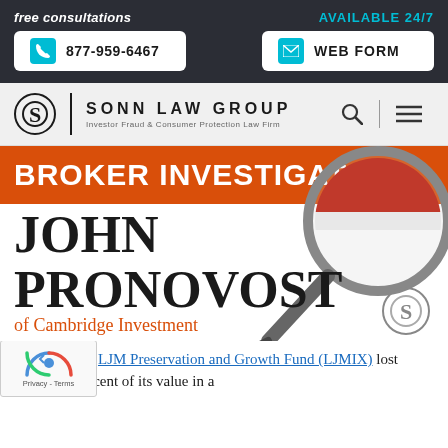free consultations
AVAILABLE 24/7
877-959-6467
WEB FORM
SONN LAW GROUP — Investor Fraud & Consumer Protection Law Firm
[Figure (infographic): Orange bar banner reading BROKER INVESTIGATION with a magnifying glass overlaid on the right side, and a large black serif text reading JOHN PRONOVOST in orange italic text of Cambridge Investment Research, Inc.]
this year, the LJM Preservation and Growth Fund (LJMIX) lost nearly 80 percent of its value in a